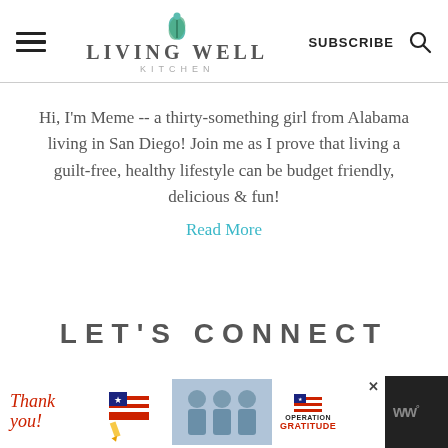LIVING WELL KITCHEN — SUBSCRIBE
Hi, I'm Meme -- a thirty-something girl from Alabama living in San Diego! Join me as I prove that living a guilt-free, healthy lifestyle can be budget friendly, delicious & fun!
Read More
LET'S CONNECT
[Figure (photo): Advertisement banner: Thank you message with Operation Gratitude branding and people in scrubs holding boxes]